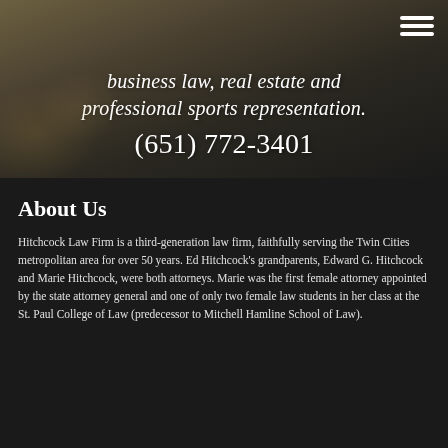business law, real estate and professional sports representation.
(651) 772-3401
About Us
Hitchcock Law Firm is a third-generation law firm, faithfully serving the Twin Cities metropolitan area for over 50 years. Ed Hitchcock's grandparents, Edward G. Hitchcock and Marie Hitchcock, were both attorneys. Marie was the first female attorney appointed by the state attorney general and one of only two female law students in her class at the St. Paul College of Law (predecessor to Mitchell Hamline School of Law).